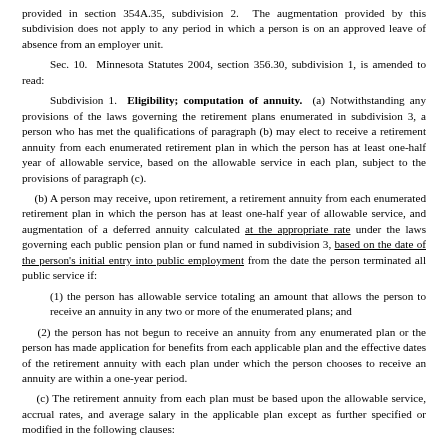provided in section 354A.35, subdivision 2. The augmentation provided by this subdivision does not apply to any period in which a person is on an approved leave of absence from an employer unit.
Sec. 10. Minnesota Statutes 2004, section 356.30, subdivision 1, is amended to read:
Subdivision 1. Eligibility; computation of annuity. (a) Notwithstanding any provisions of the laws governing the retirement plans enumerated in subdivision 3, a person who has met the qualifications of paragraph (b) may elect to receive a retirement annuity from each enumerated retirement plan in which the person has at least one-half year of allowable service, based on the allowable service in each plan, subject to the provisions of paragraph (c).
(b) A person may receive, upon retirement, a retirement annuity from each enumerated retirement plan in which the person has at least one-half year of allowable service, and augmentation of a deferred annuity calculated at the appropriate rate under the laws governing each public pension plan or fund named in subdivision 3, based on the date of the person's initial entry into public employment from the date the person terminated all public service if:
(1) the person has allowable service totaling an amount that allows the person to receive an annuity in any two or more of the enumerated plans; and
(2) the person has not begun to receive an annuity from any enumerated plan or the person has made application for benefits from each applicable plan and the effective dates of the retirement annuity with each plan under which the person chooses to receive an annuity are within a one-year period.
(c) The retirement annuity from each plan must be based upon the allowable service, accrual rates, and average salary in the applicable plan except as further specified or modified in the following clauses: